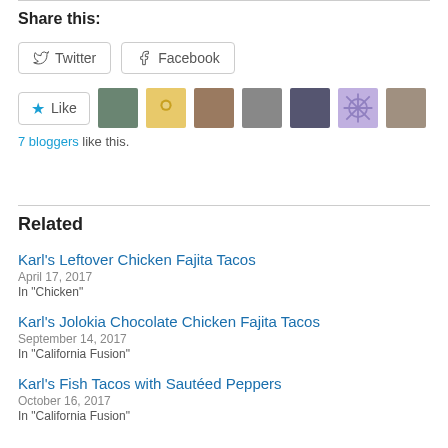Share this:
Twitter   Facebook
[Figure (other): Like button with 7 blogger avatars]
7 bloggers like this.
Related
Karl's Leftover Chicken Fajita Tacos
April 17, 2017
In "Chicken"
Karl's Jolokia Chocolate Chicken Fajita Tacos
September 14, 2017
In "California Fusion"
Karl's Fish Tacos with Sautéed Peppers
October 16, 2017
In "California Fusion"